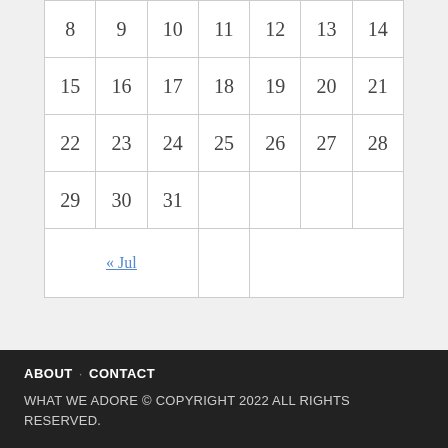| 8 | 9 | 10 | 11 | 12 | 13 | 14 |
| 15 | 16 | 17 | 18 | 19 | 20 | 21 |
| 22 | 23 | 24 | 25 | 26 | 27 | 28 |
| 29 | 30 | 31 |  |  |  |  |
| « Jul |  |  |  |  |  |  |
ABOUT · CONTACT
WHAT WE ADORE © COPYRIGHT 2022 ALL RIGHTS RESERVED.